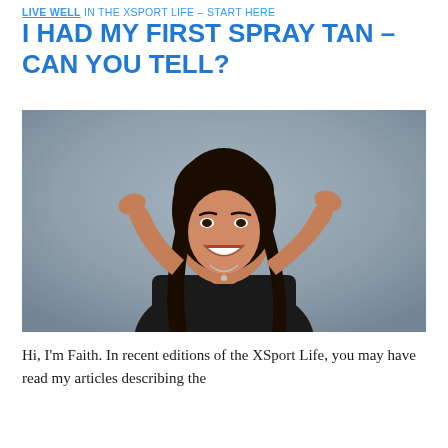LIVE WELL in the XSport Life – Start Here
I HAD MY FIRST SPRAY TAN – CAN YOU TELL?
[Figure (photo): A smiling woman with long dark hair, wearing a black top and a necklace, raising her hands in a shrugging gesture against a gray background.]
Hi, I'm Faith. In recent editions of the XSport Life, you may have read my articles describing the